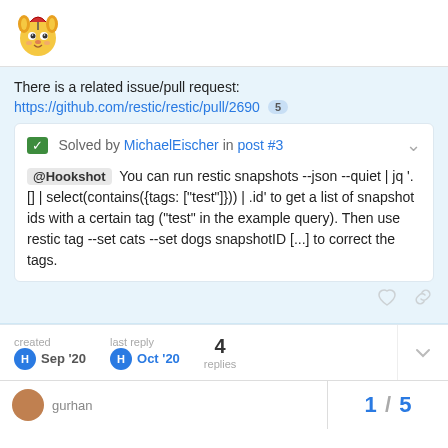[Figure (logo): Forum logo - cartoon animal mascot with umbrella]
There is a related issue/pull request:
https://github.com/restic/restic/pull/2690  5
✅ Solved by MichaelEischer in post #3
@Hookshot  You can run restic snapshots --json --quiet | jq '.[] | select(contains({tags: ["test"]})) | .id' to get a list of snapshot ids with a certain tag ("test" in the example query). Then use restic tag --set cats --set dogs snapshotID [...] to correct the tags.
created Sep '20   last reply Oct '20   4 replies
1 / 5